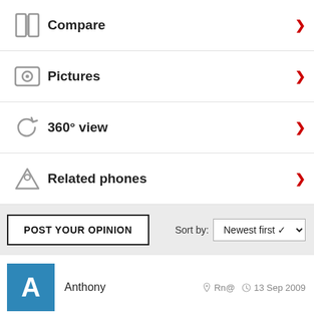Compare
Pictures
360° view
Related phones
POST YOUR OPINION
Sort by: Newest first
Anthony  Rn@  13 Sep 2009
Bullet, 13 Sep 2009
Can you tell me how you did your? I wanna do what you did h... more